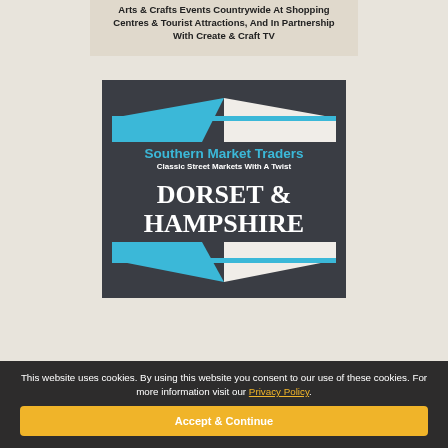Arts & Crafts Events Countrywide At Shopping Centres & Tourist Attractions, And In Partnership With Create & Craft TV
[Figure (logo): Southern Market Traders logo with blue and white tent graphic on dark background. Text reads: Southern Market Traders, Classic Street Markets With A Twist, DORSET & HAMPSHIRE]
This website uses cookies. By using this website you consent to our use of these cookies. For more information visit our Privacy Policy.
Accept & Continue